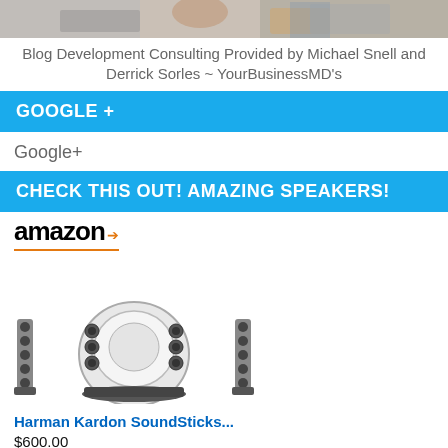[Figure (photo): Cropped photo strip showing people and a laptop, partial view at top of page]
Blog Development Consulting Provided by Michael Snell and Derrick Sorles ~ YourBusinessMD's
GOOGLE +
Google+
CHECK THIS OUT! AMAZING SPEAKERS!
[Figure (other): Amazon logo with orange arrow and orange underline border]
[Figure (photo): Harman Kardon SoundSticks speaker system product image]
Harman Kardon SoundSticks...
$600.00
Shop now